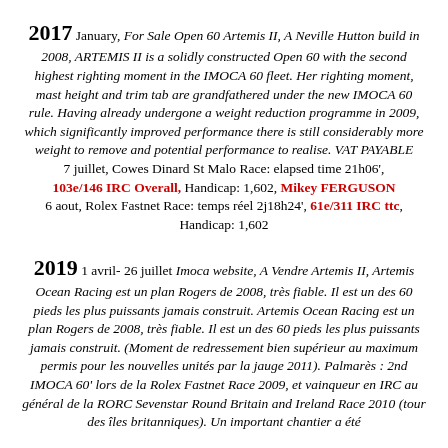2017 January, For Sale Open 60 Artemis II, A Neville Hutton build in 2008, ARTEMIS II is a solidly constructed Open 60 with the second highest righting moment in the IMOCA 60 fleet. Her righting moment, mast height and trim tab are grandfathered under the new IMOCA 60 rule. Having already undergone a weight reduction programme in 2009, which significantly improved performance there is still considerably more weight to remove and potential performance to realise. VAT PAYABLE
7 juillet, Cowes Dinard St Malo Race: elapsed time 21h06', 103e/146 IRC Overall, Handicap: 1,602, Mikey FERGUSON
6 aout, Rolex Fastnet Race: temps réel 2j18h24', 61e/311 IRC ttc, Handicap: 1,602
2019 1 avril- 26 juillet Imoca website, A Vendre Artemis II, Artemis Ocean Racing est un plan Rogers de 2008, très fiable. Il est un des 60 pieds les plus puissants jamais construit. Artemis Ocean Racing est un plan Rogers de 2008, très fiable. Il est un des 60 pieds les plus puissants jamais construit. (Moment de redressement bien supérieur au maximum permis pour les nouvelles unités par la jauge 2011). Palmarès : 2nd IMOCA 60' lors de la Rolex Fastnet Race 2009, et vainqueur en IRC au général de la RORC Sevenstar Round Britain and Ireland Race 2010 (tour des îles britanniques). Un important chantier a été